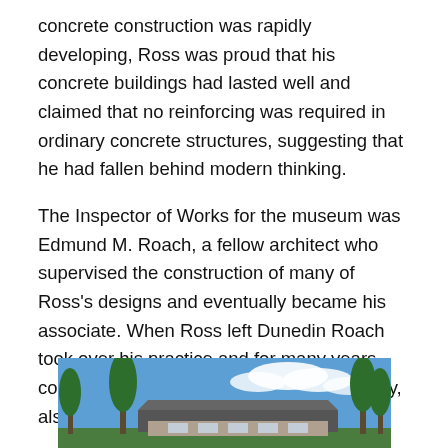concrete construction was rapidly developing, Ross was proud that his concrete buildings had lasted well and claimed that no reinforcing was required in ordinary concrete structures, suggesting that he had fallen behind modern thinking.
The Inspector of Works for the museum was Edmund M. Roach, a fellow architect who supervised the construction of many of Ross's designs and eventually became his associate. When Ross left Dunedin Roach took over his practice and for many years continued to manage his interests in the city, also acting as the executor of his estate.
[Figure (photo): Photograph of a building with trees in the foreground and a blue sky with clouds in the background.]